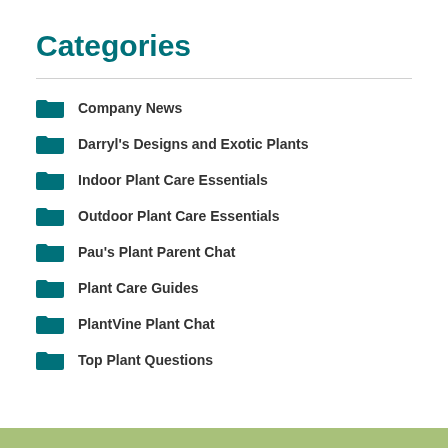Categories
Company News
Darryl's Designs and Exotic Plants
Indoor Plant Care Essentials
Outdoor Plant Care Essentials
Pau's Plant Parent Chat
Plant Care Guides
PlantVine Plant Chat
Top Plant Questions